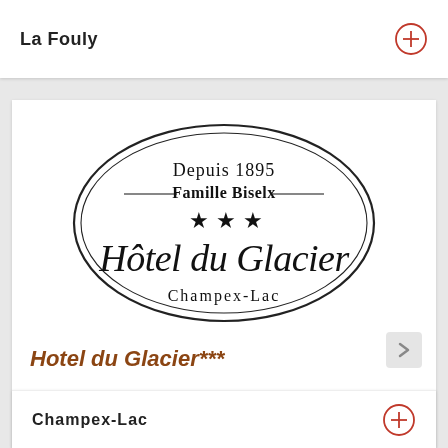La Fouly
[Figure (logo): Oval logo for Hotel du Glacier, Champex-Lac. Text reads: Depuis 1895, Famille Biselx, three stars, Hôtel du Glacier (in cursive), Champex-Lac]
Hotel du Glacier***
This is a traditional hotel that dates back over 100 years. The hotel offers well-furnished and spacious rooms and apartments, as well as...
Champex-Lac